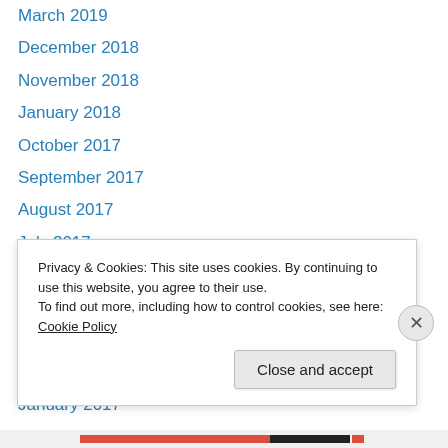March 2019
December 2018
November 2018
January 2018
October 2017
September 2017
August 2017
July 2017
May 2017
April 2017
March 2017
February 2017
January 2017
December 2016
Privacy & Cookies: This site uses cookies. By continuing to use this website, you agree to their use.
To find out more, including how to control cookies, see here: Cookie Policy
Close and accept